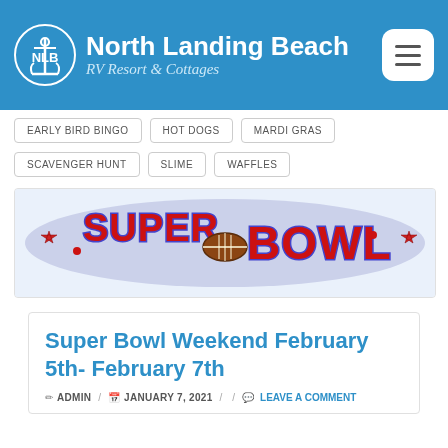North Landing Beach RV Resort & Cottages
EARLY BIRD BINGO
HOT DOGS
MARDI GRAS
SCAVENGER HUNT
SLIME
WAFFLES
[Figure (logo): Super Bowl logo graphic with large red stylized lettering 'SUPER BOWL' on a light background with a football in the center and stars on the sides]
Super Bowl Weekend February 5th- February 7th
ADMIN / JANUARY 7, 2021 / LEAVE A COMMENT